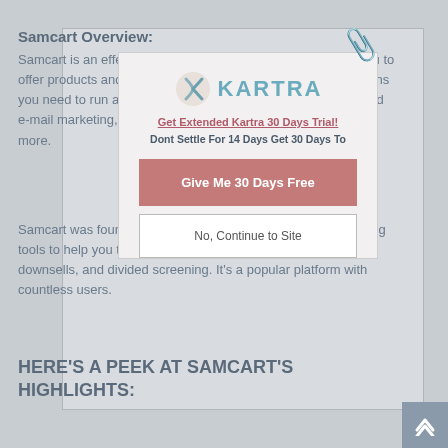Samcart Overview:
Samcart is an effective shopping cart software that permits you to offer products and services online. It comes with all the functions you need to run a successful online service, such as automated e-mail marketing, one-click upsells, affiliate management, and more.
Samcart was founded in 2013. It has a few integrated marketing tools to help you to increase sales, consisting of upsells, downsells, and divided screening. It's a popular platform with countless users.
HERE'S A PEEK AT SAMCART'S HIGHLIGHTS:
[Figure (screenshot): Kartra popup overlay with logo, headline 'Get Extended Kartra 30 Days Trial!', subheading 'Dont Settle For 14 Days Get 30 Days To', pink button 'Give Me 30 Days Free', and outline button 'No, Continue to Site']